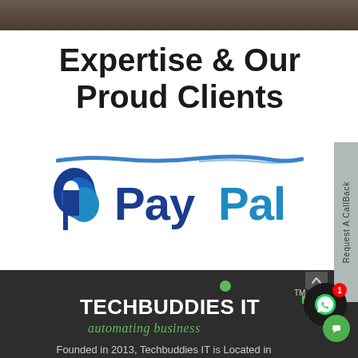Expertise & Our Proud Clients
[Figure (logo): PayPal logo with double-P icon in dark blue and light blue, and PayPal text in dark blue and light blue]
[Figure (logo): TechBuddies IT logo with green dot, white bold text TECHBUDDIES IT, TM mark, and green italic tagline 'automating business']
Founded in 2013, Techbuddies IT is Located in